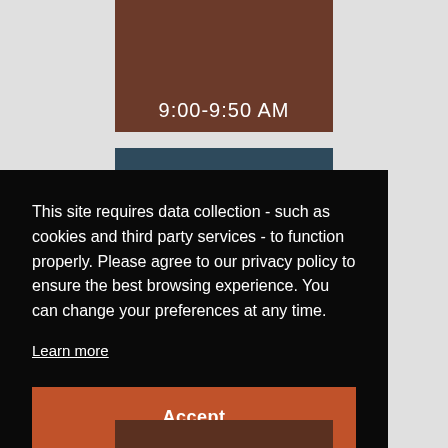[Figure (photo): Dark brownish photo of people in a meeting/conference setting with time overlay showing 9:00-9:50 AM]
9:00-9:50 AM
[Figure (photo): Dark blue-toned photo (partially visible)]
This site requires data collection - such as cookies and third party services - to function properly. Please agree to our privacy policy to ensure the best browsing experience. You can change your preferences at any time.
Learn more
Accept